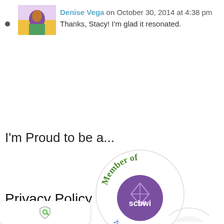• [avatar image] Denise Vega on October 30, 2014 at 4:38 pm
Thanks, Stacy! I'm glad it resonated.
I'm Proud to be a...
[Figure (logo): SCBWI Member badge: circular badge with 'Member of' in green text arched at top, purple circle with SCBWI logo in center, 'Twenty Years +' in blue text at bottom]
Privacy Policy
[Figure (logo): Shield icon with key/lock symbol in green, privacy button overlay at bottom left. Partial circular badge visible at bottom right.]